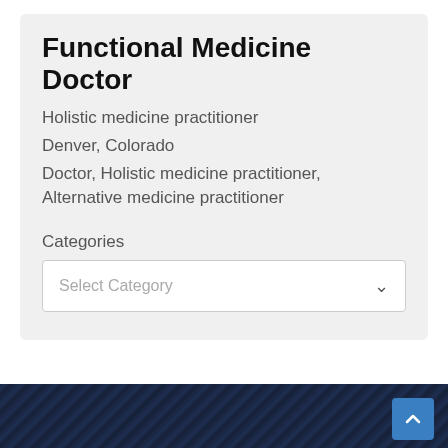Functional Medicine Doctor
Holistic medicine practitioner
Denver, Colorado
Doctor, Holistic medicine practitioner, Alternative medicine practitioner
Categories
Select Category
Business Listings